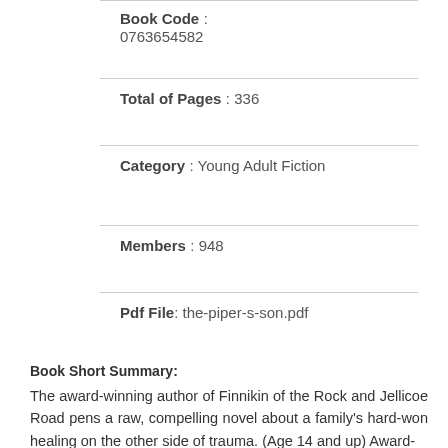Book Code : 0763654582
Total of Pages : 336
Category : Young Adult Fiction
Members : 948
Pdf File: the-piper-s-son.pdf
Book Short Summary:
The award-winning author of Finnikin of the Rock and Jellicoe Road pens a raw, compelling novel about a family's hard-won healing on the other side of trauma. (Age 14 and up) Award-